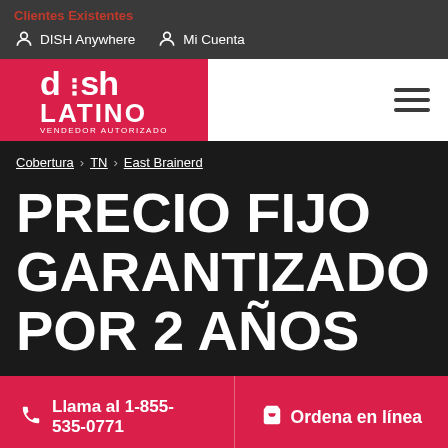Clientes Existentes
DISH Anywhere    Mi Cuenta
[Figure (logo): DishLatino Vendedor Autorizado logo — white text on red background]
Cobertura › TN › East Brainerd
PRECIO FIJO GARANTIZADO POR 2 AÑOS
Llama al 1-855-535-0771    Ordena en línea